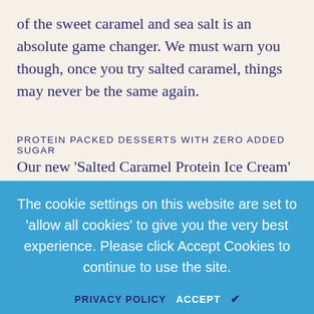of the sweet caramel and sea salt is an absolute game changer. We must warn you though, once you try salted caramel, things may never be the same again.
PROTEIN PACKED DESSERTS WITH ZERO ADDED SUGAR
Our new ‘Salted Caramel Protein Ice Cream’ is packed full of goodness. It’s high in protein and made with all natural ingredients. Just like all our other favourites, our
salted caramel ice cream contains absolutely no added sugar and is Vegetarian Society approved. Our ice cream is also free from artificial flavours, artificial colours, artificial preservatives and artificial sweeteners.
To top it all off,
The cookie settings on this website are set to ‘allow all cookies’ to give you the very best experience. Please click Accept Cookies to continue to use the site.
PRIVACY POLICY   ACCEPT   ✓